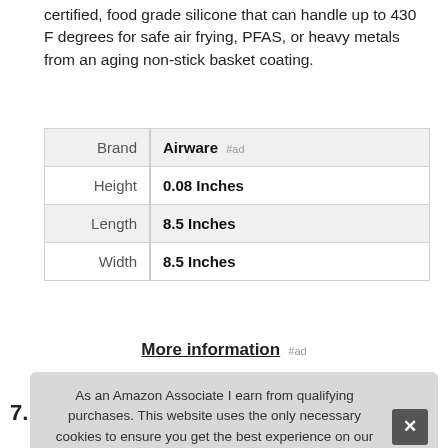certified, food grade silicone that can handle up to 430 F degrees for safe air frying, PFAS, or heavy metals from an aging non-stick basket coating.
|  |  |
| --- | --- |
| Brand | Airware #ad |
| Height | 0.08 Inches |
| Length | 8.5 Inches |
| Width | 8.5 Inches |
More information #ad
As an Amazon Associate I earn from qualifying purchases. This website uses the only necessary cookies to ensure you get the best experience on our website. More information
7.